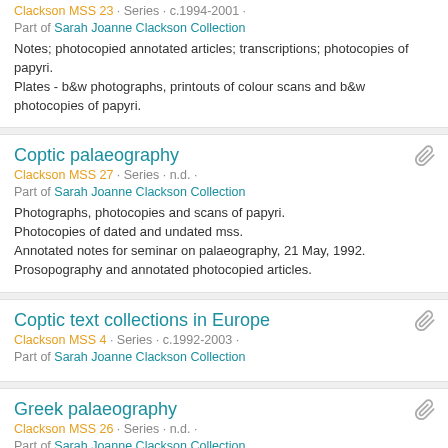Clackson MSS 23 · Series · c.1994-2001 ·
Part of Sarah Joanne Clackson Collection
Notes; photocopied annotated articles; transcriptions; photocopies of papyri.
Plates - b&w photographs, printouts of colour scans and b&w photocopies of papyri.
Coptic palaeography
Clackson MSS 27 · Series · n.d. ·
Part of Sarah Joanne Clackson Collection
Photographs, photocopies and scans of papyri.
Photocopies of dated and undated mss.
Annotated notes for seminar on palaeography, 21 May, 1992.
Prosopography and annotated photocopied articles.
Coptic text collections in Europe
Clackson MSS 4 · Series · c.1992-2003 ·
Part of Sarah Joanne Clackson Collection
Greek palaeography
Clackson MSS 26 · Series · n.d. ·
Part of Sarah Joanne Clackson Collection
Notes and annotated photocopied articles.